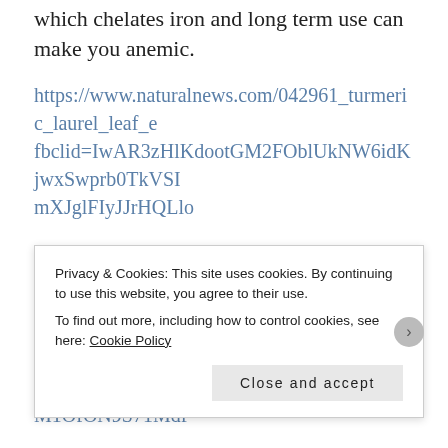which chelates iron and long term use can make you anemic.
https://www.naturalnews.com/042961_turmeric_laurel_leaf_e…fbclid=IwAR3zHlKdootGM2FOblUkNW6idKjwxSwprb0TkVSI…mXJglFIyJJrHQLlo
Getting measles when young reduces your risk of atherosclerosis when you get older.
https://www.ncbi.nlm.nih.gov/pubmed/26122188/?fbclid=IwAR14eDAn3nGnrOGdbiv9tbh2imdM1OfON9S71Mdf...
Privacy & Cookies: This site uses cookies. By continuing to use this website, you agree to their use.
To find out more, including how to control cookies, see here: Cookie Policy